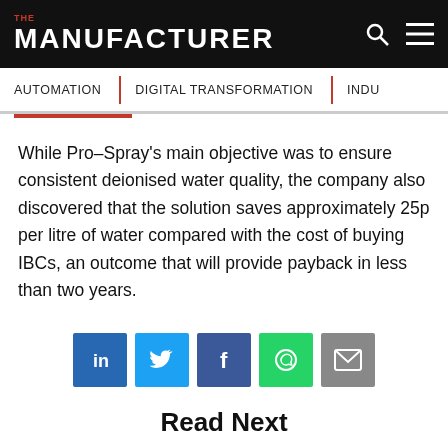THE MANUFACTURER
AUTOMATION | DIGITAL TRANSFORMATION | INDU...
While Pro–Spray's main objective was to ensure consistent deionised water quality, the company also discovered that the solution saves approximately 25p per litre of water compared with the cost of buying IBCs, an outcome that will provide payback in less than two years.
Read Next